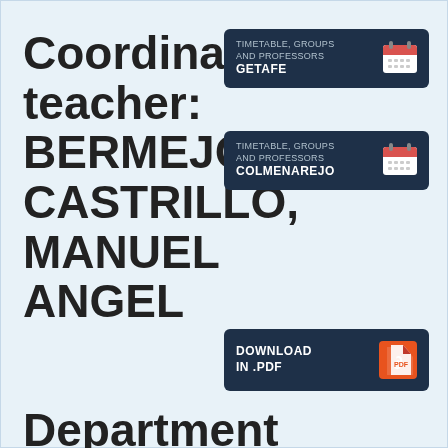Coordinating teacher: BERMEJO CASTRILLO, MANUEL ANGEL
[Figure (infographic): Dark navy button card with text 'TIMETABLE, GROUPS AND PROFESSORS' and location 'GETAFE' with calendar icon]
[Figure (infographic): Dark navy button card with text 'TIMETABLE, GROUPS AND PROFESSORS' and location 'COLMENAREJO' with calendar icon]
[Figure (infographic): Dark navy button card with text 'DOWNLOAD IN .PDF' with PDF icon]
Department